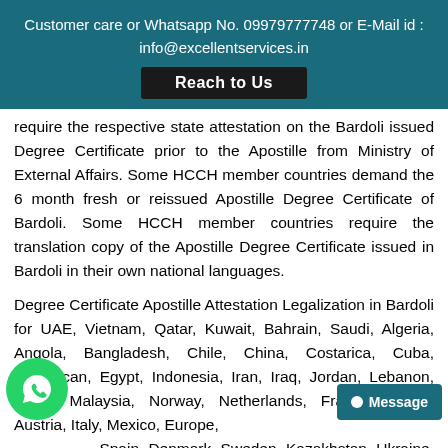Customer care or Whatsapp No. 09979777748 or E-Mail id : info@excellentservices.in
require the respective state attestation on the Bardoli issued Degree Certificate prior to the Apostille from Ministry of External Affairs. Some HCCH member countries demand the 6 month fresh or reissued Apostille Degree Certificate of Bardoli. Some HCCH member countries require the translation copy of the Apostille Degree Certificate issued in Bardoli in their own national languages.
Degree Certificate Apostille Attestation Legalization in Bardoli for UAE, Vietnam, Qatar, Kuwait, Bahrain, Saudi, Algeria, Angola, Bangladesh, Chile, China, Costarica, Cuba, Dominican, Egypt, Indonesia, Iran, Iraq, Jordan, Lebanon, Libya, Malaysia, Norway, Netherlands, France, Oman, Austria, Italy, Mexico, Europe, Russia, Spain, Denmark, Sweden, Kazakhstan, Ukraine, Hungary, Russia, Cyprus, Ireland, Belarus, Mexico, switzerland, Poland, Malta, Mauritius, Japan, Panama